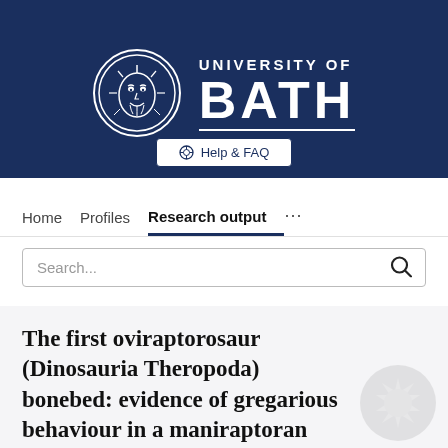[Figure (logo): University of Bath logo: circular emblem with face/sun motif in white on navy, with 'UNIVERSITY OF BATH' text beside it in white on navy background]
Help & FAQ
Home   Profiles   Research output   ...
Search...
The first oviraptorosaur (Dinosauria Theropoda) bonebed: evidence of gregarious behaviour in a maniraptoran theropod